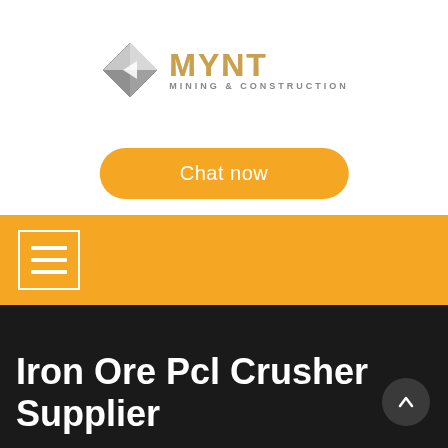[Figure (logo): MYNT Mining & Construction logo with silver diamond shape and gold stylized text]
[Figure (infographic): Orange 'Chat now' button (rounded pill shape) and a teal/purple 'LIVE CHAT' speech bubble icon in the top-right corner]
[Figure (infographic): Orange navigation bar with white-bordered hamburger menu icon]
Iron Ore Pcl Crusher Supplier